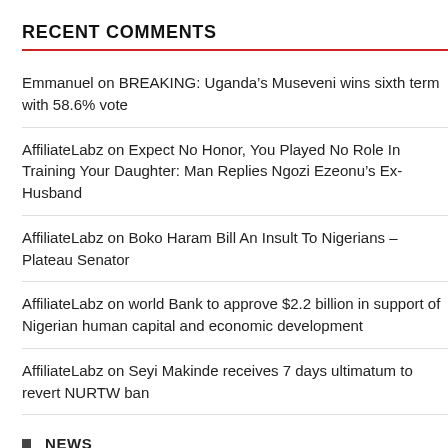RECENT COMMENTS
Emmanuel on BREAKING: Uganda’s Museveni wins sixth term with 58.6% vote
AffiliateLabz on Expect No Honor, You Played No Role In Training Your Daughter: Man Replies Ngozi Ezeonu’s Ex-Husband
AffiliateLabz on Boko Haram Bill An Insult To Nigerians – Plateau Senator
AffiliateLabz on world Bank to approve $2.2 billion in support of Nigerian human capital and economic development
AffiliateLabz on Seyi Makinde receives 7 days ultimatum to revert NURTW ban
NEWS
ENTERTAINMENT